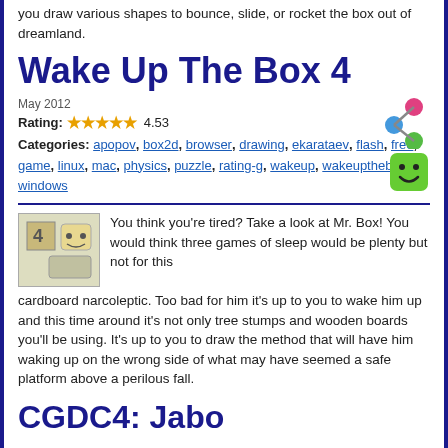you draw various shapes to bounce, slide, or rocket the box out of dreamland.
Wake Up The Box 4
May 2012
Rating: 4.53
Categories: apopov, box2d, browser, drawing, ekarataev, flash, free, game, linux, mac, physics, puzzle, rating-g, wakeup, wakeupthebox, windows
[Figure (illustration): Share icon with connected colored dots]
[Figure (illustration): Green smiley face icon]
[Figure (illustration): Game thumbnail showing cartoon box character with number 4]
You think you're tired? Take a look at Mr. Box! You would think three games of sleep would be plenty but not for this cardboard narcoleptic. Too bad for him it's up to you to wake him up and this time around it's not only tree stumps and wooden boards you'll be using. It's up to you to draw the method that will have him waking up on the wrong side of what may have seemed a safe platform above a perilous fall.
CGDC4: Jabo